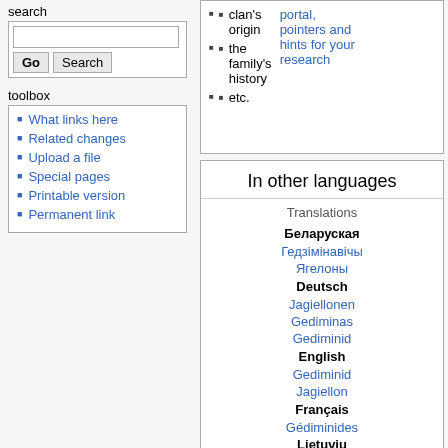search
Search input with Go and Search buttons
toolbox
What links here
Related changes
Upload a file
Special pages
Printable version
Permanent link
clan's origin
the family's history
etc.
pointers and hints for your research
In other languages
Translations
Беларуская
Гедзімінавічы
Ягелоны
Deutsch
Jagiellonen
Gediminas
Gediminid
English
Gediminid
Jagiellon
Français
Gédiminides
Lietuvių